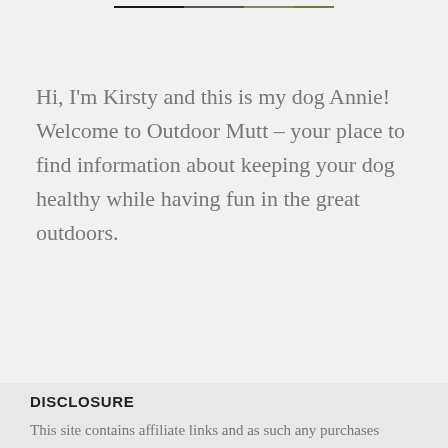[Figure (photo): Partial image of a dog and outdoor green background at the top of the page]
Hi, I'm Kirsty and this is my dog Annie! Welcome to Outdoor Mutt – your place to find information about keeping your dog healthy while having fun in the great outdoors.
DISCLOSURE
This site contains affiliate links and as such any purchases